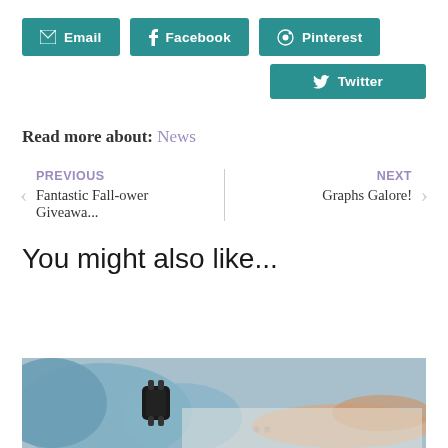[Figure (infographic): Social share buttons row: Email, Facebook, Pinterest in teal]
[Figure (infographic): Social share button: Twitter in teal, right-aligned]
Read more about: News
PREVIOUS
Fantastic Fall-ower Giveawa...
NEXT
Graphs Galore!
You might also like...
[Figure (photo): Photo showing hands working on papers with a smartwatch visible, blue fabric in background]